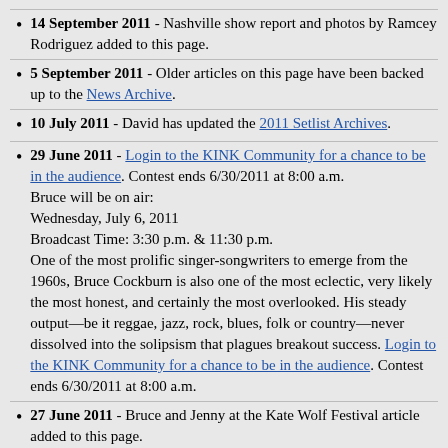14 September 2011 - Nashville show report and photos by Ramcey Rodriguez added to this page.
5 September 2011 - Older articles on this page have been backed up to the News Archive.
10 July 2011 - David has updated the 2011 Setlist Archives.
29 June 2011 - Login to the KINK Community for a chance to be in the audience. Contest ends 6/30/2011 at 8:00 a.m. Bruce will be on air: Wednesday, July 6, 2011 Broadcast Time: 3:30 p.m. & 11:30 p.m. One of the most prolific singer-songwriters to emerge from the 1960s, Bruce Cockburn is also one of the most eclectic, very likely the most honest, and certainly the most overlooked. His steady output—be it reggae, jazz, rock, blues, folk or country—never dissolved into the solipsism that plagues breakout success. Login to the KINK Community for a chance to be in the audience. Contest ends 6/30/2011 at 8:00 a.m.
27 June 2011 - Bruce and Jenny at the Kate Wolf Festival article added to this page.
10 June 2011 - New Tour Dates, including those in Italy have been added.
6 June 2011 - David has updated the 2011 Setlist Archive.
2 June 2011 - New Tour Dates have been added.